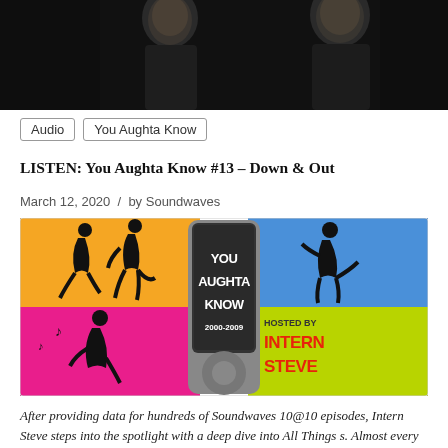[Figure (photo): Two people photographed in dark clothing against a dark background, visible from shoulders up]
Audio
You Aughta Know
LISTEN: You Aughta Know #13 – Down & Out
March 12, 2020  /  by Soundwaves
[Figure (illustration): You Aughta Know podcast logo — colorful graphic with dancing silhouettes on orange, pink, black, and blue/green backgrounds, large iPod-style device shape in center with text 'YOU AUGHTA KNOW 2000-2009', 'HOSTED BY INTERN STEVE' on the right]
After providing data for hundreds of Soundwaves 10@10 episodes, Intern Steve steps into the spotlight with a deep dive into All Things s. Almost every episode will be two parts … each half a distinctly different subject